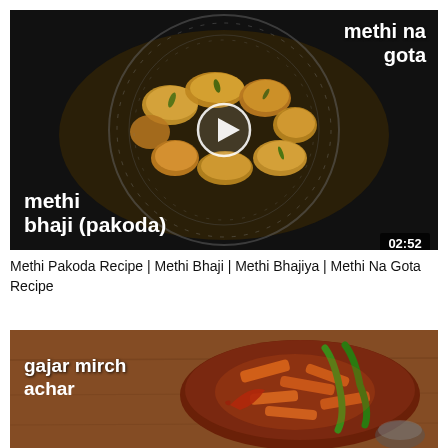[Figure (photo): Video thumbnail showing methi bhaji (pakoda) / methi na gota — fried fenugreek fritters in a metal strainer basket on dark background. White play button circle in center. Text overlay: 'methi na gota' top right, 'methi bhaji (pakoda)' bottom left. Duration badge '02:52' bottom right.]
Methi Pakoda Recipe | Methi Bhaji | Methi Bhajiya | Methi Na Gota Recipe
[Figure (photo): Video thumbnail showing gajar mirch achar — carrot and chilli pickle in a round bowl on a wooden surface. Red and green chillis visible. Text overlay: 'gajar mirch achar' on left side in white bold text.]